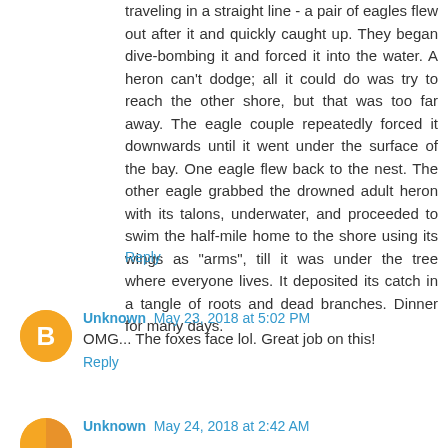traveling in a straight line - a pair of eagles flew out after it and quickly caught up. They began dive-bombing it and forced it into the water. A heron can't dodge; all it could do was try to reach the other shore, but that was too far away. The eagle couple repeatedly forced it downwards until it went under the surface of the bay. One eagle flew back to the nest. The other eagle grabbed the drowned adult heron with its talons, underwater, and proceeded to swim the half-mile home to the shore using its wings as "arms", till it was under the tree where everyone lives. It deposited its catch in a tangle of roots and dead branches. Dinner for many days.
Reply
Unknown May 23, 2018 at 5:02 PM
OMG... The foxes face lol. Great job on this!
Reply
Unknown May 24, 2018 at 2:42 AM